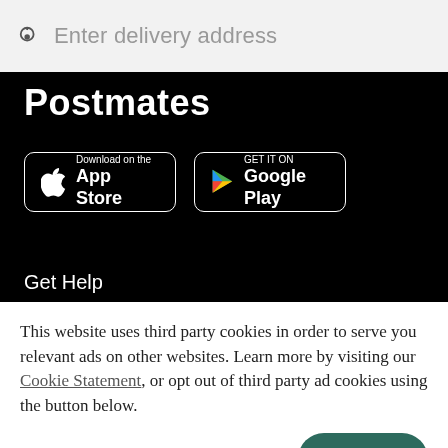Enter delivery address
Postmates
[Figure (logo): Download on the App Store button]
[Figure (logo): Get it on Google Play button]
Get Help
This website uses third party cookies in order to serve you relevant ads on other websites. Learn more by visiting our Cookie Statement, or opt out of third party ad cookies using the button below.
OPT OUT
GOT IT